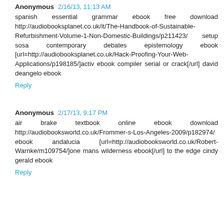Anonymous 2/16/13, 11:13 AM
spanish essential grammar ebook free download http://audiobooksplanet.co.uk/it/The-Handbook-of-Sustainable-Refurbishment-Volume-1-Non-Domestic-Buildings/p211423/ setup sosa contemporary debates epistemology ebook [url=http://audiobooksplanet.co.uk/Hack-Proofing-Your-Web-Applications/p198185/]activ ebook compiler serial or crack[/url] david deangelo ebook
Reply
Anonymous 2/17/13, 9:17 PM
air brake textbook online ebook download http://audiobooksworld.co.uk/Frommer-s-Los-Angeles-2009/p182974/ ebook andalucia [url=http://audiobooksworld.co.uk/Robert-Warnke/m109754/]one mans wilderness ebook[/url] to the edge cindy gerald ebook
Reply